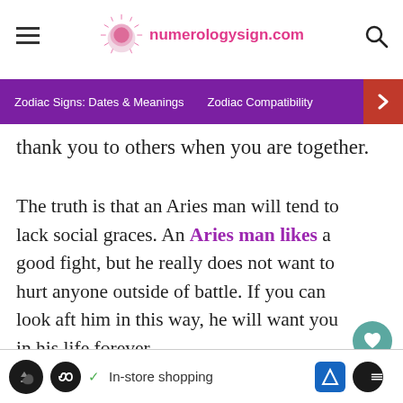numerologysign.com
Zodiac Signs: Dates & Meanings   Zodiac Compatibility
thank you to others when you are together.
The truth is that an Aries man will tend to lack social graces. An Aries man likes a good fight, but he really does not want to hurt anyone outside of battle. If you can look aft him in this way, he will want you in his life forever.
How to Get an Aries Man to Chase
In-store shopping